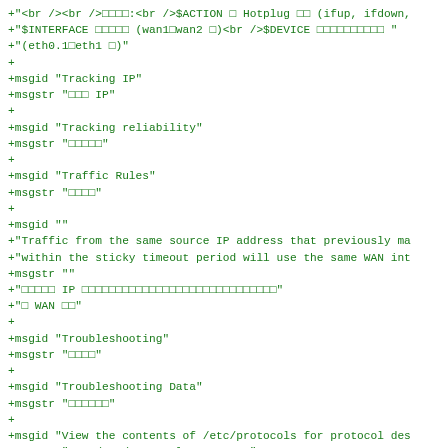Code diff showing gettext/po file entries with msgid and msgstr pairs for localization strings including Tracking IP, Tracking reliability, Traffic Rules, Troubleshooting, Troubleshooting Data, View the contents of /etc/protocols for protocol descriptions, and Weight